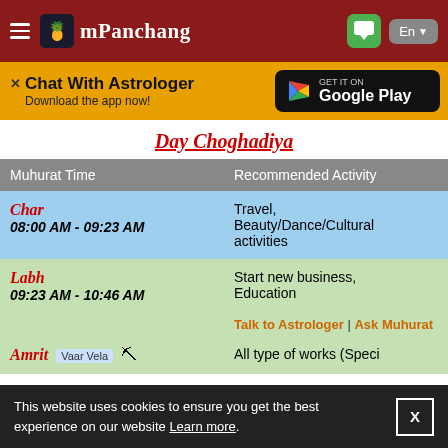mPanchang — En
[Figure (screenshot): Ad banner: Chat With Astrologer, Download the app now! with Google Play button]
Day Choghadiya
| Muhurat Time | Recommended Activity |
| --- | --- |
| Char
08:00 AM - 09:23 AM | Travel, Beauty/Dance/Cultural activities |
| Labh
09:23 AM - 10:46 AM | Start new business, Education |
|  | Talk to Astrologer | Ask Muhurat |
| Amrit  Vaar Vela 🏺 | All type of works (Speci... Milk Product Related... |
This website uses cookies to ensure you get the best experience on our website Learn more.